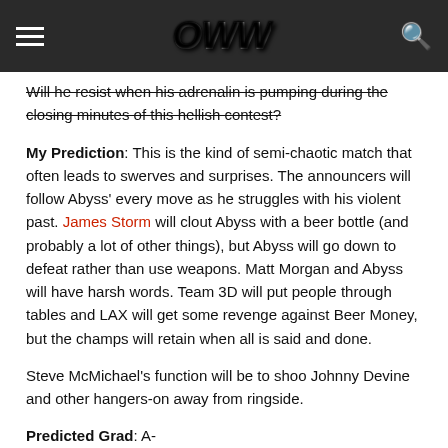OWW [logo] navigation header
Will he resist when his adrenalin is pumping during the closing minutes of this hellish contest?
My Prediction: This is the kind of semi-chaotic match that often leads to swerves and surprises. The announcers will follow Abyss' every move as he struggles with his violent past. James Storm will clout Abyss with a beer bottle (and probably a lot of other things), but Abyss will go down to defeat rather than use weapons. Matt Morgan and Abyss will have harsh words. Team 3D will put people through tables and LAX will get some revenge against Beer Money, but the champs will retain when all is said and done.
Steve McMichael's function will be to shoo Johnny Devine and other hangers-on away from ringside.
Predicted Grad: A-
Samoa Joe vs. Sting